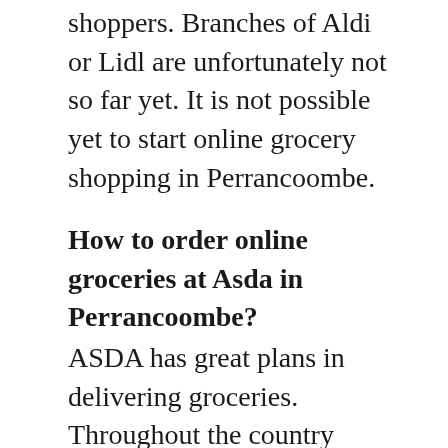shoppers. Branches of Aldi or Lidl are unfortunately not so far yet. It is not possible yet to start online grocery shopping in Perrancoombe.
How to order online groceries at Asda in Perrancoombe?
ASDA has great plans in delivering groceries. Throughout the country there are quite a lot of collection points, but ASDA will soon sell Clarks Original Maple Syrup Carob Fruit Blend and Baby Drinks via internet. They work in a delivery service in your town. Other supermarkets follow short notice. You can think of online grocery shopping at Co-op and certainly online shopping at waitrose. Can I order online groceries at Morrisons in Cornwall? Enter your postal code (... R62 8AE0) at Morrisons.com. View all...